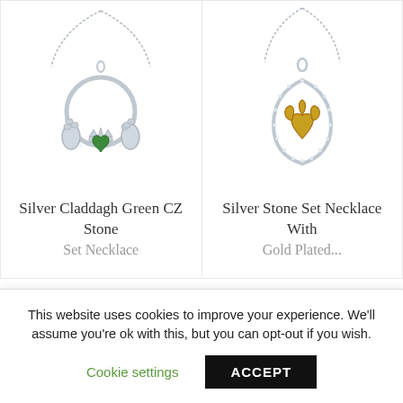[Figure (photo): Silver Claddagh necklace with green CZ stone heart, silver hands and crown, on a silver chain]
Silver Claddagh Green CZ Stone Set Necklace
[Figure (photo): Silver teardrop-shaped stone set necklace with gold plated Trinity knot inside, on a silver chain]
Silver Stone Set Necklace With Gold Plated...
This website uses cookies to improve your experience. We'll assume you're ok with this, but you can opt-out if you wish.
Cookie settings
ACCEPT